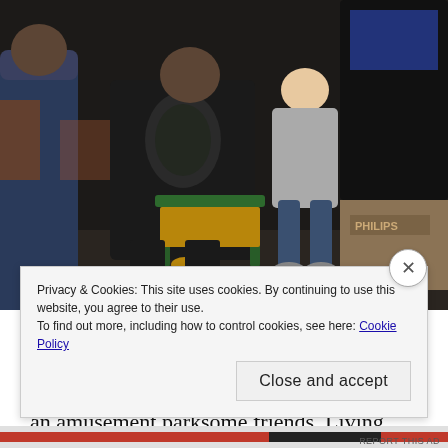[Figure (photo): Indoor photo of a man in a black t-shirt sitting on a green chair next to a child, both facing an arcade game or monitor. A Philips box is visible on the right side. The setting appears to be a dimly lit indoor space.]
New Year’s was rainy and a little cold, but we still headed out to the country to blow things up with some friends. Living next to an amusement park
Privacy & Cookies: This site uses cookies. By continuing to use this website, you agree to their use.
To find out more, including how to control cookies, see here: Cookie Policy
Close and accept